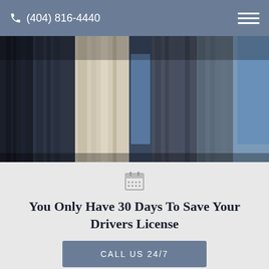(404) 816-4440
[Figure (photo): Looking up at large stone classical columns of a courthouse or government building against a blue sky]
You Only Have 30 Days To Save Your Drivers License
CALL US 24/7